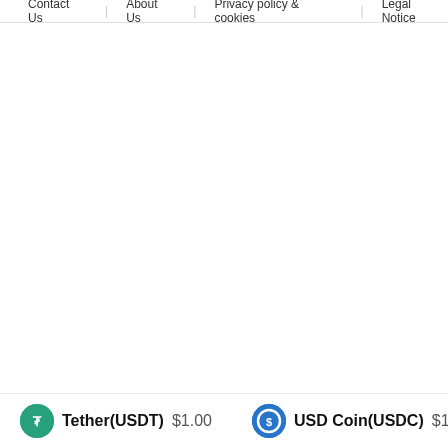Contact Us   About Us   Privacy policy & cookies   Legal Notice
Tether(USDT) $1.00   USD Coin(USDC) $1.00   BNB(B...